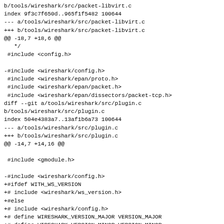b/tools/wireshark/src/packet-libvirt.c
index 9f3c7f650d..965f1f5482 100644
--- a/tools/wireshark/src/packet-libvirt.c
+++ b/tools/wireshark/src/packet-libvirt.c
@@ -18,7 +18,6 @@
   */
 #include <config.h>

-#include <wireshark/config.h>
 #include <wireshark/epan/proto.h>
 #include <wireshark/epan/packet.h>
 #include <wireshark/epan/dissectors/packet-tcp.h>
diff --git a/tools/wireshark/src/plugin.c
b/tools/wireshark/src/plugin.c
index 504e4383a7..13af1b6a73 100644
--- a/tools/wireshark/src/plugin.c
+++ b/tools/wireshark/src/plugin.c
@@ -14,7 +14,16 @@

 #include <gmodule.h>

-#include <wireshark/config.h>
+#ifdef WITH_WS_VERSION
+# include <wireshark/ws_version.h>
+#else
+# include <wireshark/config.h>
+# define WIRESHARK_VERSION_MAJOR VERSION_MAJOR
+# define WIRESHARK_VERSION_MINOR VERSION_MINOR
+# define WIRESHARK_VERSION_MICRO VERSION_MICRO
+#endif